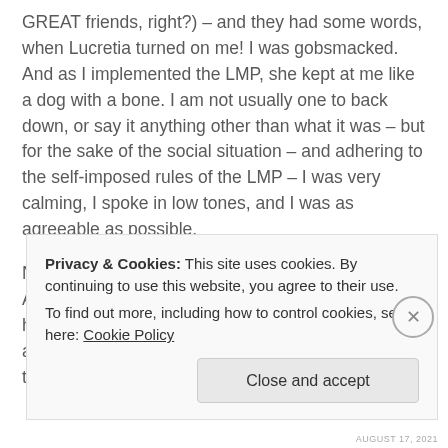GREAT friends, right?) – and they had some words, when Lucretia turned on me! I was gobsmacked. And as I implemented the LMP, she kept at me like a dog with a bone. I am not usually one to back down, or say it anything other than what it was – but for the sake of the social situation – and adhering to the self-imposed rules of the LMP – I was very calming, I spoke in low tones, and I was as agreeable as possible.
Now, Lucretia has moderated her drinking, a lot. And has been a much nicer person, and I believe it has saved her marriage, as John was in despair about her. But too weak to divorce her. He admitted to us that a second divorce would
Privacy & Cookies: This site uses cookies. By continuing to use this website, you agree to their use.
To find out more, including how to control cookies, see here: Cookie Policy
Close and accept
AUGUST 17, 2021